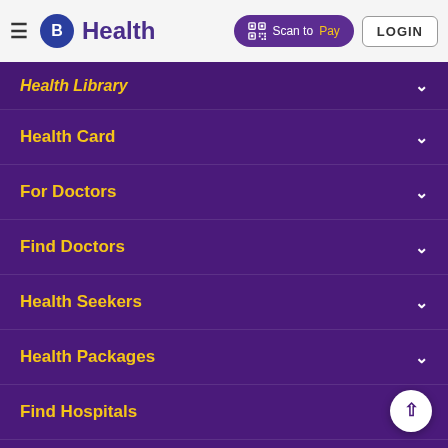B Health — Scan to Pay | LOGIN
Health Library
Health Card
For Doctors
Find Doctors
Health Seekers
Health Packages
Find Hospitals
Lab Booking